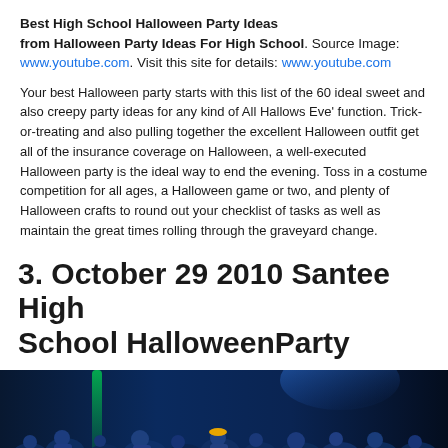Best High School Halloween Party Ideas from Halloween Party Ideas For High School. Source Image: www.youtube.com. Visit this site for details: www.youtube.com
Your best Halloween party starts with this list of the 60 ideal sweet and also creepy party ideas for any kind of All Hallows Eve' function. Trick-or-treating and also pulling together the excellent Halloween outfit get all of the insurance coverage on Halloween, a well-executed Halloween party is the ideal way to end the evening. Toss in a costume competition for all ages, a Halloween game or two, and plenty of Halloween crafts to round out your checklist of tasks as well as maintain the great times rolling through the graveyard change.
3. October 29 2010 Santee High School HalloweenParty
[Figure (photo): A dark blue-lit crowd of high school students at a Halloween party, with green and blue stage lighting visible above the crowd.]